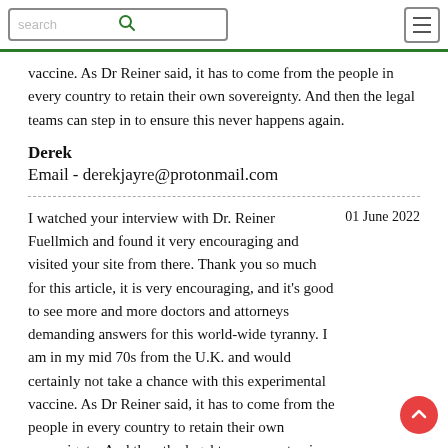search [navigation menu]
vaccine. As Dr Reiner said, it has to come from the people in every country to retain their own sovereignty. And then the legal teams can step in to ensure this never happens again.
Derek
Email - derekjayre@protonmail.com
I watched your interview with Dr. Reiner Fuellmich and found it very encouraging and visited your site from there. Thank you so much for this article, it is very encouraging, and it's good to see more and more doctors and attorneys demanding answers for this world-wide tyranny. I am in my mid 70s from the U.K. and would certainly not take a chance with this experimental vaccine. As Dr Reiner said, it has to come from the people in every country to retain their own sovereignty. And then the legal teams can step in to ensure this never happens again.
01 June 2022
Derek